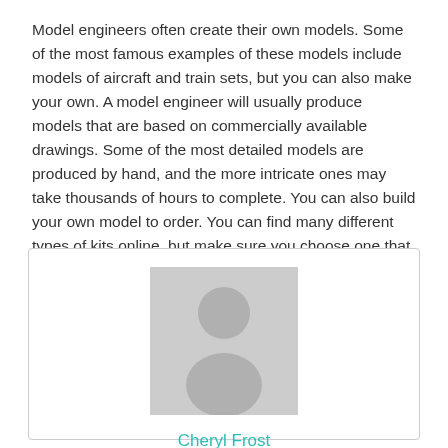Model engineers often create their own models. Some of the most famous examples of these models include models of aircraft and train sets, but you can also make your own. A model engineer will usually produce models that are based on commercially available drawings. Some of the most detailed models are produced by hand, and the more intricate ones may take thousands of hours to complete. You can also build your own model to order. You can find many different types of kits online, but make sure you choose one that suits your needs.
[Figure (photo): A card with a grey placeholder avatar silhouette (person icon) centered, with the name 'Cheryl Frost' in teal below it.]